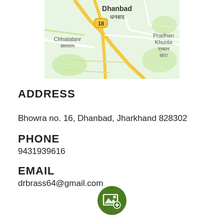[Figure (map): Google Maps screenshot showing Dhanbad (धनबाद) area with Chhatatanr (छातातार) on the left, route 18 marker, and Pradhan Khunta (प्रधान खंटा) on the right, green and road network visible.]
ADDRESS
Bhowra no. 16, Dhanbad, Jharkhand 828302
PHONE
9431939616
EMAIL
drbrass64@gmail.com
[Figure (illustration): Green circular FAB button with an image/photo add icon (landscape picture with a plus sign) in white.]